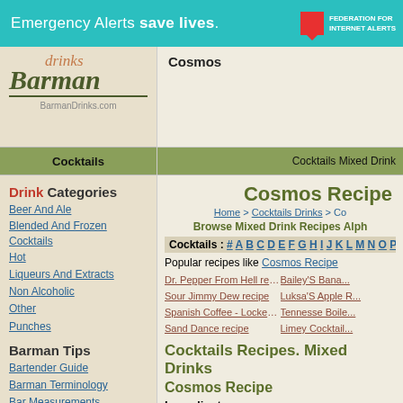Emergency Alerts save lives. FEDERATION FOR INTERNET ALERTS
[Figure (logo): Barman Drinks logo with drinks text in red italic and Barman in dark green italic with BarmanDrinks.com below]
Cosmos
Cocktails | Cocktails Mixed Drink
Drink Categories
Beer And Ale
Blended And Frozen Cocktails
Hot
Liqueurs And Extracts
Non Alcoholic
Other
Punches
Barman Tips
Bartender Guide
Barman Terminology
Bar Measurements
Site Menu
Submit Drink Recipe
Bookmark This Site
Contact Us
Cosmos Recipe
Home > Cocktails Drinks > Co...
Browse Mixed Drink Recipes Alph...
Cocktails : # A B C D E F G H I J K L M N O P Q R S...
Popular recipes like Cosmos Recipe
Dr. Pepper From Hell recipe | Bailey'S Bana...
Sour Jimmy Dew recipe | Luksa'S Apple R...
Spanish Coffee - Lockerroom Style recipe | Tennesse Boile...
Sand Dance recipe | Limey Cocktail...
Cocktails Recipes. Mixed Drinks
Cosmos Recipe
Ingredients
2 oz. Light Rum
1 oz. Lime Juice
1 tsp. Sugar